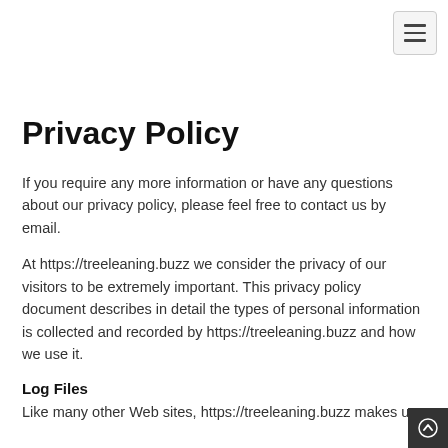[Figure (other): Hamburger menu button in top-right corner]
Privacy Policy
If you require any more information or have any questions about our privacy policy, please feel free to contact us by email.
At https://treeleaning.buzz we consider the privacy of our visitors to be extremely important. This privacy policy document describes in detail the types of personal information is collected and recorded by https://treeleaning.buzz and how we use it.
Log Files
Like many other Web sites, https://treeleaning.buzz makes us